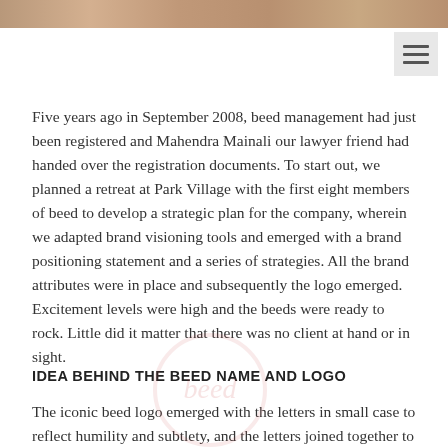[Figure (photo): A horizontal photo strip at the top of the page showing people, cropped to a narrow band.]
Five years ago in September 2008, beed management had just been registered and Mahendra Mainali our lawyer friend had handed over the registration documents. To start out, we planned a retreat at Park Village with the first eight members of beed to develop a strategic plan for the company, wherein we adapted brand visioning tools and emerged with a brand positioning statement and a series of strategies. All the brand attributes were in place and subsequently the logo emerged. Excitement levels were high and the beeds were ready to rock. Little did it matter that there was no client at hand or in sight.
IDEA BEHIND THE BEED NAME AND LOGO
The iconic beed logo emerged with the letters in small case to reflect humility and subtlety, and the letters joined together to reflect a tight knit group, team spirit and bonding. The word beed was adapted from the vedic word 'vid' – ('the expert' or 'one possessed with the knowledge of the Veda). I was then writing a column under the nom de plume Arthakeed for eight